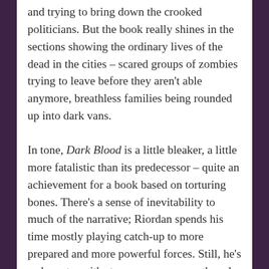and trying to bring down the crooked politicians. But the book really shines in the sections showing the ordinary lives of the dead in the cities – scared groups of zombies trying to leave before they aren't able anymore, breathless families being rounded up into dark vans.
In tone, Dark Blood is a little bleaker, a little more fatalistic than its predecessor – quite an achievement for a book based on torturing bones. There's a sense of inevitability to much of the narrative; Riordan spends his time mostly playing catch-up to more prepared and more powerful forces. Still, he's a character with strong agency: even though he's on the back-foot most of the time, he still makes